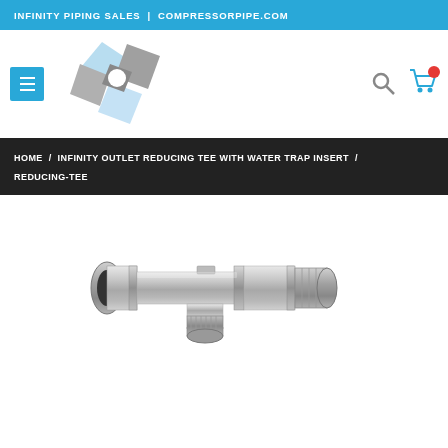INFINITY PIPING SALES | COMPRESSORPIPE.COM
[Figure (logo): Infinity Piping Sales logo: geometric interlocking squares in blue and grey]
HOME / INFINITY OUTLET REDUCING TEE WITH WATER TRAP INSERT / REDUCING-TEE
[Figure (photo): Stainless steel outlet reducing tee fitting with water trap insert, showing a horizontal cylindrical pipe fitting with a smaller threaded outlet port on the bottom and press-fit connections on both ends]